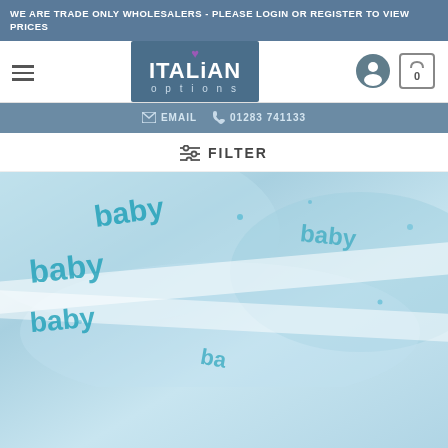WE ARE TRADE ONLY WHOLESALERS - PLEASE LOGIN OR REGISTER TO VIEW PRICES
[Figure (logo): Italian Options logo with purple heart above text, white text on dark blue/teal background, with 'options' in light blue below]
EMAIL  01283 741133
FILTER
[Figure (photo): Close-up photo of light blue/white ribbons or fabric with 'baby' text printed in teal/turquoise lettering, repeated pattern]